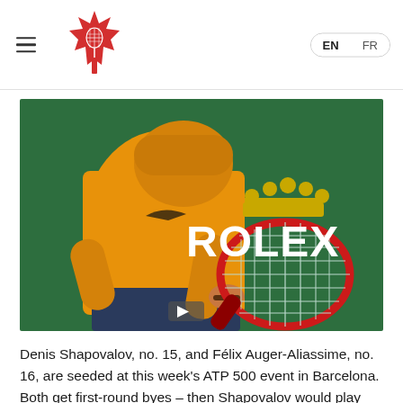Tennis Canada website header with logo and EN/FR language switcher
[Figure (photo): Tennis player in orange shirt holding a red Wilson racket in front of a green Rolex advertising board at a tennis tournament]
Denis Shapovalov, no. 15, and Félix Auger-Aliassime, no. 16, are seeded at this week's ATP 500 event in Barcelona. Both get first-round byes – then Shapovalov would play either no.